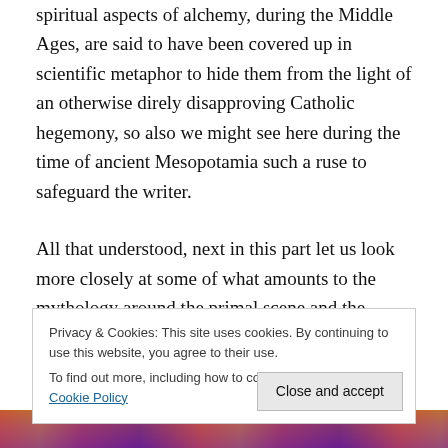spiritual aspects of alchemy, during the Middle Ages, are said to have been covered up in scientific metaphor to hide them from the light of an otherwise direly disapproving Catholic hegemony, so also we might see here during the time of ancient Mesopotamia such a ruse to safeguard the writer.
All that understood, next in this part let us look more closely at some of what amounts to the mythology around the primal scene and the Oedipal conflict. Naturally, we
Privacy & Cookies: This site uses cookies. By continuing to use this website, you agree to their use.
To find out more, including how to control cookies, see here: Cookie Policy
[Figure (photo): Bottom strip showing partial view of people, colorful background with orange, purple and red tones]